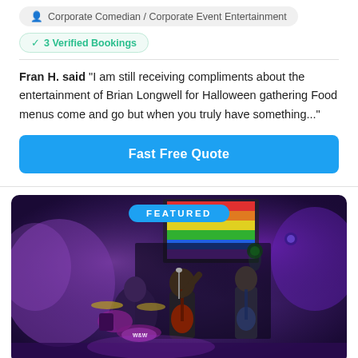Corporate Comedian / Corporate Event Entertainment
✓ 3 Verified Bookings
Fran H. said "I am still receiving compliments about the entertainment of Brian Longwell for Halloween gathering Food menus come and go but when you truly have something..."
Fast Free Quote
[Figure (photo): Live band performing on stage with purple stage lighting, a rainbow flag in the background, and a drum kit visible in the foreground. A 'FEATURED' badge overlay appears at the top center of the image.]